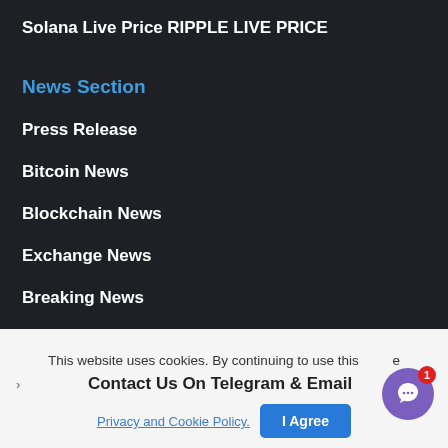Solana Live Price
RIPPLE LIVE PRICE
News Section
Press Release
Bitcoin News
Blockchain News
Exchange News
Breaking News
Government News
Important Pages
This website uses cookies. By continuing to use this website
Contact Us On Telegram & Email
Privacy and Cookie Policy.
I Agree